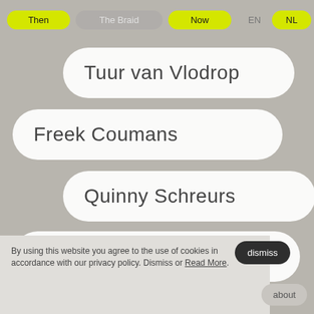Then | The Braid | Now | EN | NL
Tuur van Vlodrop
Freek Coumans
Quinny Schreurs
Roel Vennekens
dismiss
By using this website you agree to the use of cookies in accordance with our privacy policy. Dismiss or Read More.
about